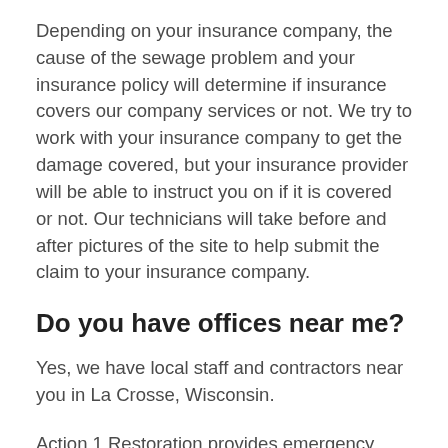Depending on your insurance company, the cause of the sewage problem and your insurance policy will determine if insurance covers our company services or not. We try to work with your insurance company to get the damage covered, but your insurance provider will be able to instruct you on if it is covered or not. Our technicians will take before and after pictures of the site to help submit the claim to your insurance company.
Do you have offices near me?
Yes, we have local staff and contractors near you in La Crosse, Wisconsin.
Action 1 Restoration provides emergency services 24 hours a day, 7 days a week for residential and commercial properties. If you are experiencing any type of sewer disaster, our highly trained team can help you with some of the best solutions. Please get in touch with our